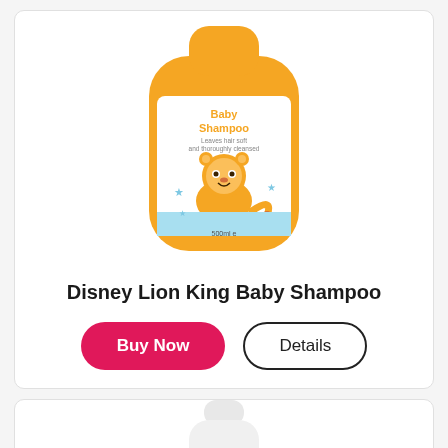[Figure (photo): Yellow bottle of Disney Lion King Baby Shampoo with Simba character on label, 500ml]
Disney Lion King Baby Shampoo
Buy Now
Details
[Figure (photo): White bottle of a baby product, partially visible at bottom of page]